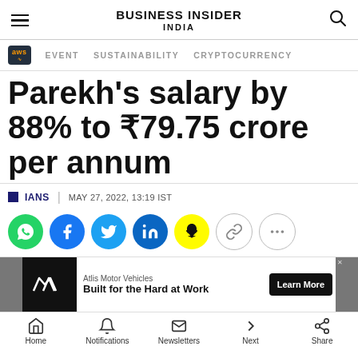BUSINESS INSIDER INDIA
EVENT  SUSTAINABILITY  CRYPTOCURRENCY
Parekh's salary by 88% to ₹79.75 crore per annum
IANS | MAY 27, 2022, 13:19 IST
[Figure (other): Social share buttons: WhatsApp, Facebook, Twitter, LinkedIn, Snapchat, link copy, more options]
[Figure (other): Advertisement banner: Atlis Motor Vehicles - Built for the Hard at Work - Learn More button]
Home  Notifications  Newsletters  Next  Share